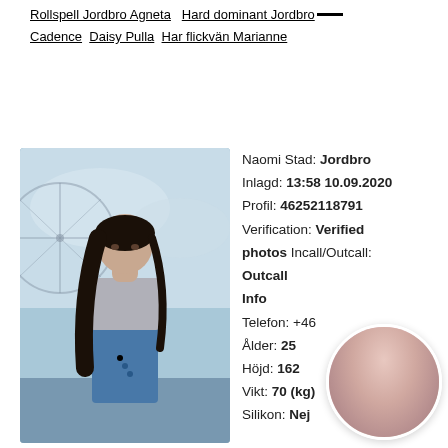Rollspell Jordbro Agneta  Hard dominant Jordbro—  Cadence  Daisy Pulla   Har flickvän Marianne
[Figure (photo): Young woman with long dark hair wearing a grey crop top and blue jeans, standing outdoors near a ferris wheel]
Naomi Stad: Jordbro
Inlagd: 13:58 10.09.2020
Profil: 46252118791
Verification: Verified photos Incall/Outcall:
Outcall
Info
Telefon: +46...
Ålder: 25
Höjd: 162
Vikt: 70 (kg)
Silikon: Nej
[Figure (photo): Circular cropped photo of a dark-haired woman]